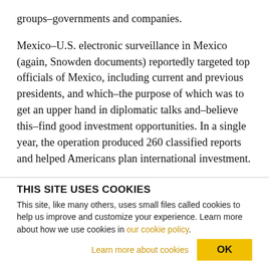groups–governments and companies.
Mexico–U.S. electronic surveillance in Mexico (again, Snowden documents) reportedly targeted top officials of Mexico, including current and previous presidents, and which–the purpose of which was to get an upper hand in diplomatic talks and–believe this–find good investment opportunities. In a single year, the operation produced 260 classified reports and helped Americans plan international investment.
THIS SITE USES COOKIES
This site, like many others, uses small files called cookies to help us improve and customize your experience. Learn more about how we use cookies in our cookie policy.
Learn more about cookies
OK